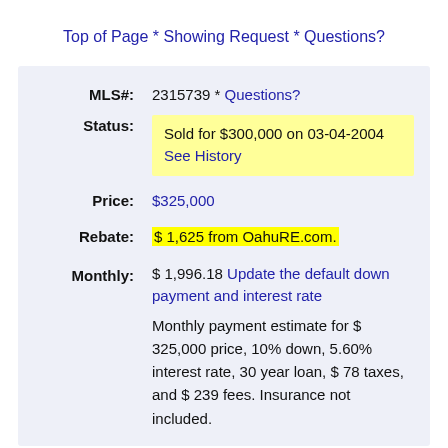Top of Page * Showing Request * Questions?
| MLS#: | 2315739 * Questions? |
| Status: | Sold for $300,000 on 03-04-2004 See History |
| Price: | $325,000 |
| Rebate: | $ 1,625 from OahuRE.com. |
| Monthly: | $ 1,996.18 Update the default down payment and interest rate
Monthly payment estimate for $ 325,000 price, 10% down, 5.60% interest rate, 30 year loan, $ 78 taxes, and $ 239 fees. Insurance not included. |